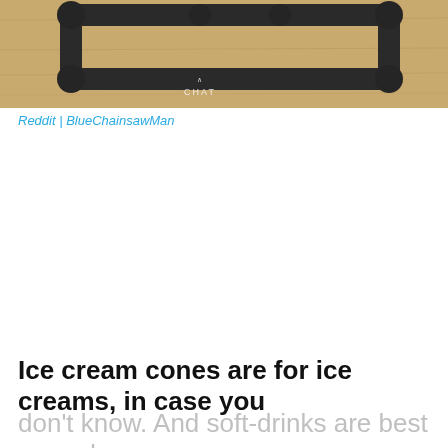[Figure (photo): Photo of black metal pipes/fittings arranged on a wooden floor, with a semi-transparent 'CHAT' label overlay at the bottom center of the image.]
Reddit | BlueChainsawMan
Ice cream cones are for ice creams, in case you don't know. And soft-drinks are best served on plastic cups, again in case you don't know.